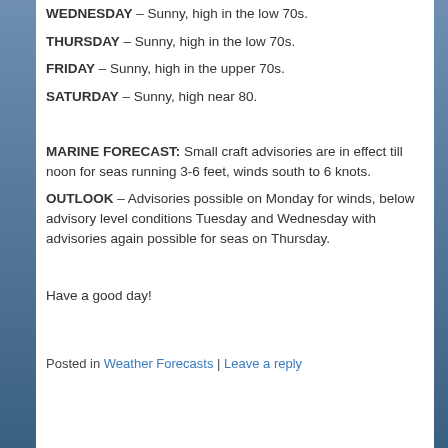WEDNESDAY – Sunny, high in the low 70s.
THURSDAY – Sunny, high in the low 70s.
FRIDAY – Sunny, high in the upper 70s.
SATURDAY – Sunny, high near 80.
MARINE FORECAST:  Small craft advisories are in effect till noon for seas running 3-6 feet, winds south to 6 knots.
OUTLOOK – Advisories possible on Monday for winds, below advisory level conditions Tuesday and Wednesday with advisories again possible for seas on Thursday.
Have a good day!
Posted in Weather Forecasts | Leave a reply